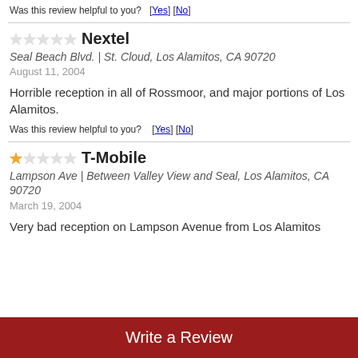Was this review helpful to you?  [Yes] [No]
Nextel
Seal Beach Blvd. | St. Cloud, Los Alamitos, CA 90720
August 11, 2004
Horrible reception in all of Rossmoor, and major portions of Los Alamitos.
Was this review helpful to you?  [Yes] [No]
T-Mobile
Lampson Ave | Between Valley View and Seal, Los Alamitos, CA 90720
March 19, 2004
Very bad reception on Lampson Avenue from Los Alamitos
Write a Review